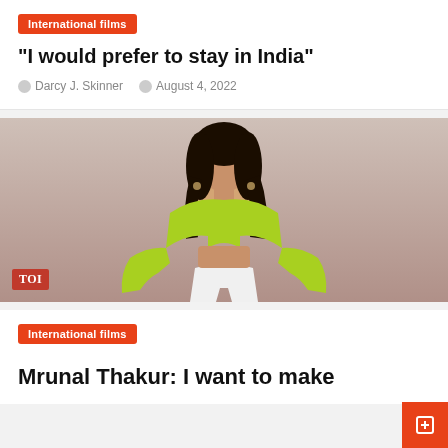International films
“I would prefer to stay in India”
Darcy J. Skinner   August 4, 2022
[Figure (photo): Photo of Mrunal Thakur wearing a lime green off-shoulder top and white pants, posing against a neutral background. TOI logo badge in bottom left corner.]
International films
Mrunal Thakur: I want to make